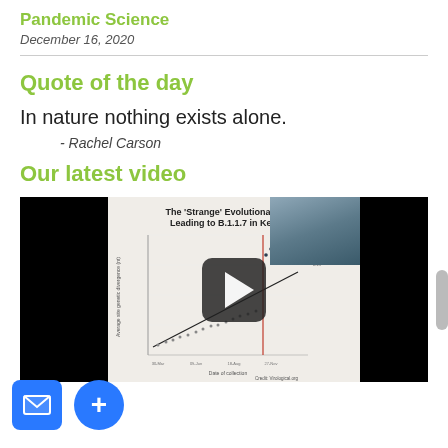Pandemic Science
December 16, 2020
Quote of the day
In nature nothing exists alone.
- Rachel Carson
Our latest video
[Figure (screenshot): YouTube video thumbnail showing a scientific scatter plot titled 'The Strange Evolutionary Leap Leading to B.1.1.7 in Kent, UK' with a play button overlay. Credit: Virological.org]